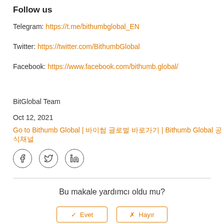Follow us
Telegram: https://t.me/bithumbglobal_EN
Twitter: https://twitter.com/BithumbGlobal
Facebook: https://www.facebook.com/bithumb.global/
BitGlobal Team
Oct 12, 2021
Go to Bithumb Global | 바이썸 글로벌 바로가기 | Bithumb Global 공식채널
[Figure (illustration): Social media icon circles: Facebook, Twitter, LinkedIn]
Bu makale yardımcı oldu mu?
Evet / Hayır buttons